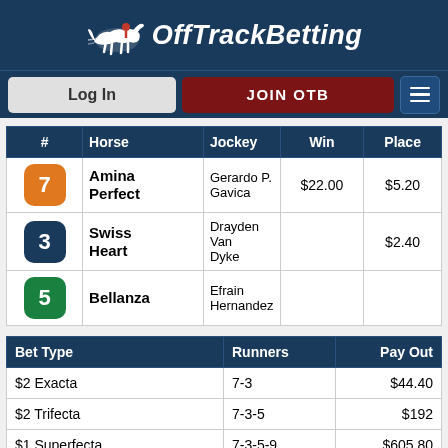OffTrackBetting
[Figure (logo): OffTrackBetting logo with racing horse silhouette and stylized italic text]
| # | Horse | Jockey | Win | Place |
| --- | --- | --- | --- | --- |
| 7 | Amina Perfect | Gerardo P. Gavica | $22.00 | $5.20 |
| 3 | Swiss Heart | Drayden Van Dyke |  | $2.40 |
| 5 | Bellanza | Efrain Hernandez |  |  |
| Bet Type | Runners | Pay Out |
| --- | --- | --- |
| $2 Exacta | 7-3 | $44.40 |
| $2 Trifecta | 7-3-5 | $192 |
| $1 Superfecta | 7-3-5-9 | $605.80 |